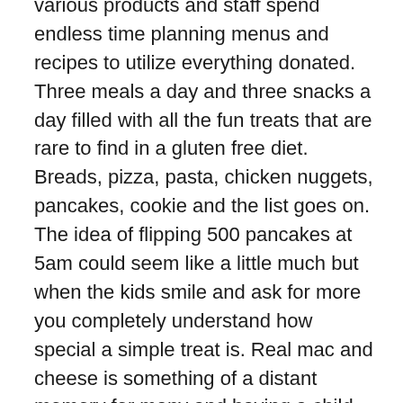various products and staff spend endless time planning menus and recipes to utilize everything donated. Three meals a day and three snacks a day filled with all the fun treats that are rare to find in a gluten free diet. Breads, pizza, pasta, chicken nuggets, pancakes, cookie and the list goes on. The idea of flipping 500 pancakes at 5am could seem like a little much but when the kids smile and ask for more you completely understand how special a simple treat is. Real mac and cheese is something of a distant memory for many and having a child explain that it was the best they ever had gave me the fuel to push myself all week. I even had a father explain how scared his daughter is to eat out but that she trusts me and this week may change her life.
Outside of the food, everyone is grateful to be apart of the whole concept. At home, each child is the one that has